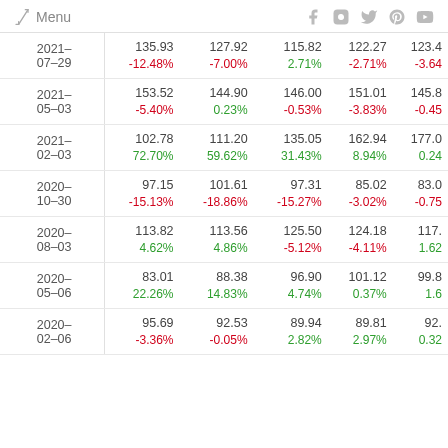$ Menu  f  Instagram  Twitter  Pinterest  YouTube
| Date | Col1 | Col2 | Col3 | Col4 | Col5 |
| --- | --- | --- | --- | --- | --- |
| 2021-07-29 | 135.93 / -12.48% | 127.92 / -7.00% | 115.82 / 2.71% | 122.27 / -2.71% | 123.4 / -3.64 |
| 2021-05-03 | 153.52 / -5.40% | 144.90 / 0.23% | 146.00 / -0.53% | 151.01 / -3.83% | 145.8 / -0.45 |
| 2021-02-03 | 102.78 / 72.70% | 111.20 / 59.62% | 135.05 / 31.43% | 162.94 / 8.94% | 177.0 / 0.24 |
| 2020-10-30 | 97.15 / -15.13% | 101.61 / -18.86% | 97.31 / -15.27% | 85.02 / -3.02% | 83.0 / -0.75 |
| 2020-08-03 | 113.82 / 4.62% | 113.56 / 4.86% | 125.50 / -5.12% | 124.18 / -4.11% | 117. / 1.62 |
| 2020-05-06 | 83.01 / 22.26% | 88.38 / 14.83% | 96.90 / 4.74% | 101.12 / 0.37% | 99.8 / 1.6 |
| 2020-02-06 | 95.69 / -3.36% | 92.53 / -0.05% | 89.94 / 2.82% | 89.81 / 2.97% | 92. / 0.32 |